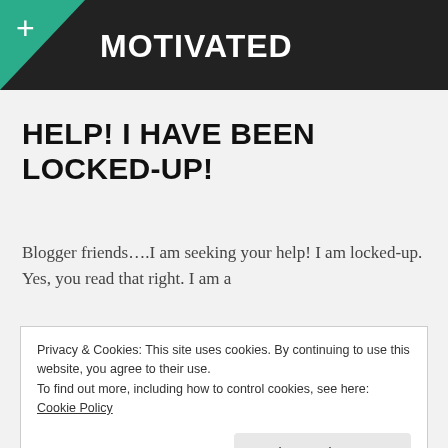MOTIVATED
HELP! I HAVE BEEN LOCKED-UP!
Blogger friends....I am seeking your help!  I am locked-up.  Yes, you read that right.  I am a
Privacy & Cookies: This site uses cookies. By continuing to use this website, you agree to their use.
To find out more, including how to control cookies, see here: Cookie Policy
Close and accept